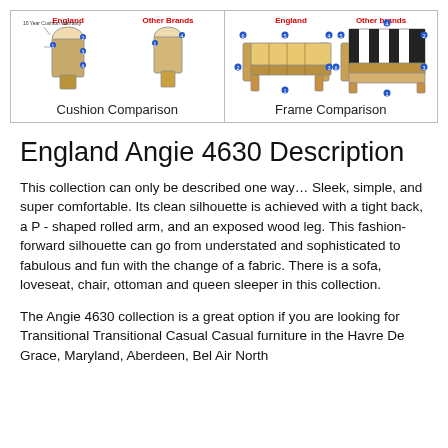[Figure (illustration): Cushion Comparison diagram showing England vs other brands cushion cross-sections with numbered labels and annotations]
Cushion Comparison
[Figure (illustration): Frame Comparison diagram showing England vs other brands chair frame side views with numbered labels and annotations]
Frame Comparison
England Angie 4630 Description
This collection can only be described one way… Sleek, simple, and super comfortable. Its clean silhouette is achieved with a tight back, a P - shaped rolled arm, and an exposed wood leg. This fashion-forward silhouette can go from understated and sophisticated to fabulous and fun with the change of a fabric. There is a sofa, loveseat, chair, ottoman and queen sleeper in this collection.
The Angie 4630 collection is a great option if you are looking for Transitional Transitional Casual Casual furniture in the Havre De Grace, Maryland, Aberdeen, Bel Air North